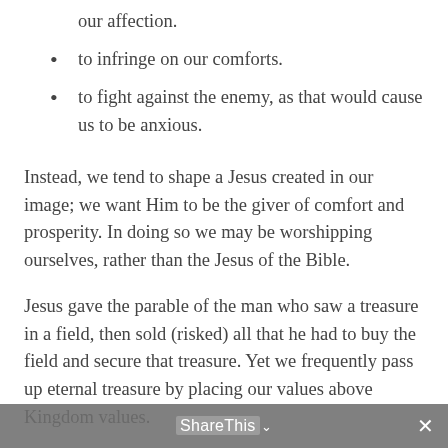our affection.
to infringe on our comforts.
to fight against the enemy, as that would cause us to be anxious.
Instead, we tend to shape a Jesus created in our image; we want Him to be the giver of comfort and prosperity. In doing so we may be worshipping ourselves, rather than the Jesus of the Bible.
Jesus gave the parable of the man who saw a treasure in a field, then sold (risked) all that he had to buy the field and secure that treasure. Yet we frequently pass up eternal treasure by placing our values above Kingdom values.
We know in business and in other areas of life, the greater the risk, the greater the reward. This is a theme of the Sermon on the Mount, where the Lord promises